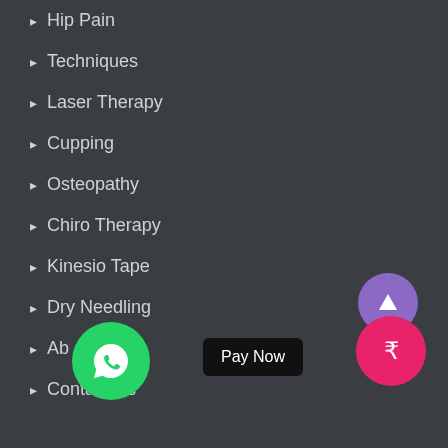Hip Pain
Techniques
Laser Therapy
Cupping
Osteopathy
Chiro Therapy
Kinesio Tape
Dry Needling
Ab...
Contact Us
[Figure (logo): WhatsApp green circle button with phone icon]
Pay Now
[Figure (other): Purple circle button with upward arrow (scroll to top)]
[Figure (other): Pink/magenta circle button with Indian Rupee symbol]